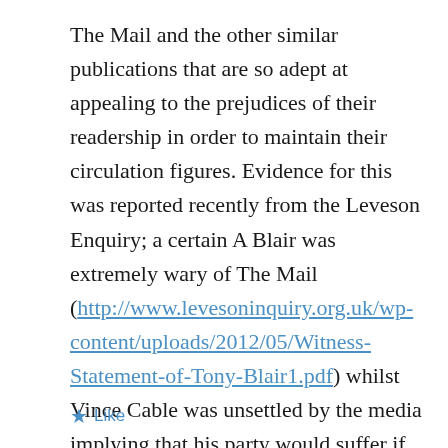The Mail and the other similar publications that are so adept at appealing to the prejudices of their readership in order to maintain their circulation figures. Evidence for this was reported recently from the Leveson Enquiry; a certain A Blair was extremely wary of The Mail (http://www.levesoninquiry.org.uk/wp-content/uploads/2012/05/Witness-Statement-of-Tony-Blair1.pdf) whilst Vince Cable was unsettled by the media implying that his party would suffer if he pursued a certain course of action (http://www.levesoninquiry.org.uk/wp-content/uploads/2012/05/Witness-Statement-of-Tony-Blair1.pdf clause 64(b) ).
★ Like